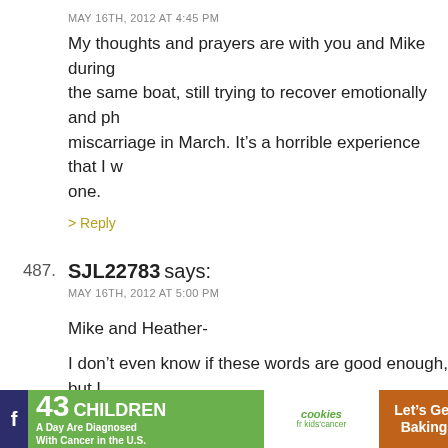MAY 16TH, 2012 AT 4:45 PM
My thoughts and prayers are with you and Mike during the same boat, still trying to recover emotionally and ph miscarriage in March. It's a horrible experience that I w one.
> Reply
487. SJL22783 says: MAY 16TH, 2012 AT 5:00 PM
Mike and Heather-
I don't even know if these words are good enough, but I hear this.
sending any love that can help
> Reply
488. Zoe says: MAY 16TH, 2012 AT 5:08 PM
[Figure (screenshot): Advertisement banner at bottom: green section '43 CHILDREN A Day Are Diagnosed With Cancer in the U.S.' with cookies for kids cancer logo and 'Let's Get Baking' on brown background, with social media icons on dark bar.]